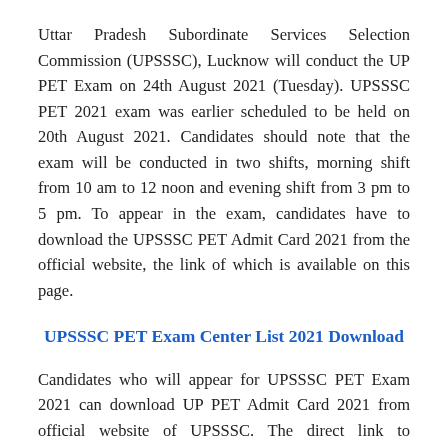Uttar Pradesh Subordinate Services Selection Commission (UPSSSC), Lucknow will conduct the UP PET Exam on 24th August 2021 (Tuesday). UPSSSC PET 2021 exam was earlier scheduled to be held on 20th August 2021. Candidates should note that the exam will be conducted in two shifts, morning shift from 10 am to 12 noon and evening shift from 3 pm to 5 pm. To appear in the exam, candidates have to download the UPSSSC PET Admit Card 2021 from the official website, the link of which is available on this page.
UPSSSC PET Exam Center List 2021 Download
Candidates who will appear for UPSSSC PET Exam 2021 can download UP PET Admit Card 2021 from official website of UPSSSC. The direct link to download UPSSSC PET Admit Card 2021 is given below. For